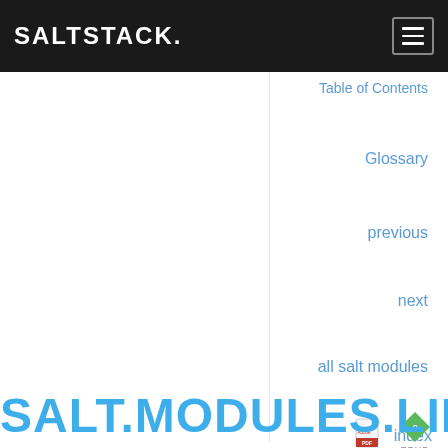SALTSTACK
Table of Contents
Glossary
previous
next
all salt modules
index
[Figure (logo): ePub icon with green diamond shape and 'EPUB' label]
SALT.MODULES.LINUX